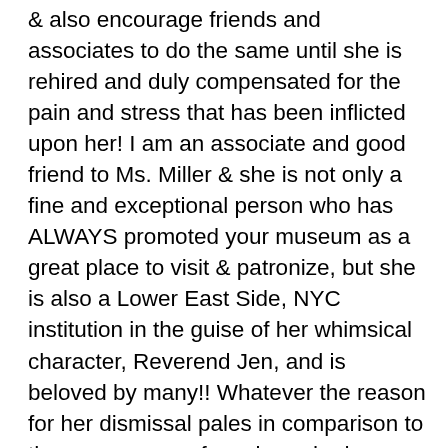& also encourage friends and associates to do the same until she is rehired and duly compensated for the pain and stress that has been inflicted upon her! I am an associate and good friend to Ms. Miller & she is not only a fine and exceptional person who has ALWAYS promoted your museum as a great place to visit & patronize, but she is also a Lower East Side, NYC institution in the guise of her whimsical character, Reverend Jen, and is beloved by many!! Whatever the reason for her dismissal pales in comparison to the many years of services she has given your institution, the tireless support and sacrifices she's made in your name and her general stature in the artistic and NYC community where she is no less than a Lower East Side treasure!! Again, you must reverse your decision or you will lose my support as well as the support of many other patrons of the arts whom love & respect Rev Jen very much and are appalled at this sad turn